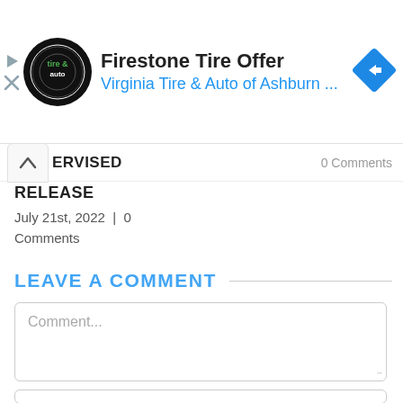[Figure (screenshot): Firestone Tire Offer advertisement banner with Virginia Tire & Auto of Ashburn logo and navigation icon]
ERVISED
0 Comments
RELEASE
July 21st, 2022 | 0 Comments
LEAVE A COMMENT
Comment...